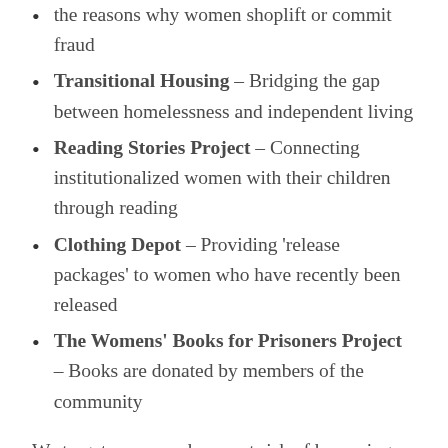the reasons why women shoplift or commit fraud
Transitional Housing – Bridging the gap between homelessness and independent living
Reading Stories Project – Connecting institutionalized women with their children through reading
Clothing Depot – Providing 'release packages' to women who have recently been released
The Womens' Books for Prisoners Project – Books are donated by members of the community
We target women who are at risk of becoming -or have been- involved with the criminal justice system. We also serve women interested in returning to Manitoba or relocating to the province of Manitoba upon their release.